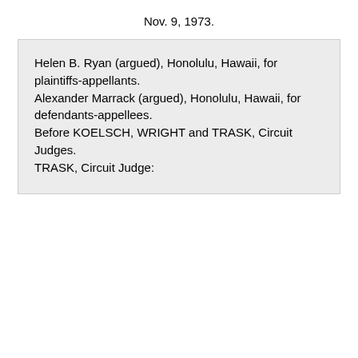Nov. 9, 1973.
Helen B. Ryan (argued), Honolulu, Hawaii, for plaintiffs-appellants.
Alexander Marrack (argued), Honolulu, Hawaii, for defendants-appellees.
Before KOELSCH, WRIGHT and TRASK, Circuit Judges.
TRASK, Circuit Judge: